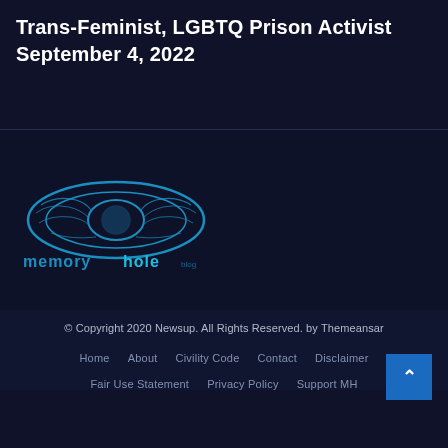Trans-Feminist, LGBTQ Prison Activist September 4, 2022
[Figure (logo): Memoryhole blog logo — a stylized brain graphic in cyan/teal with the text 'memoryhole' below it in cyan colored letters]
© Copyright 2020 Newsup. All Rights Reserved. by Themeansar
Home   About   Civility Code   Contact   Disclaimer
Fair Use Statement   Privacy Policy   Support MH